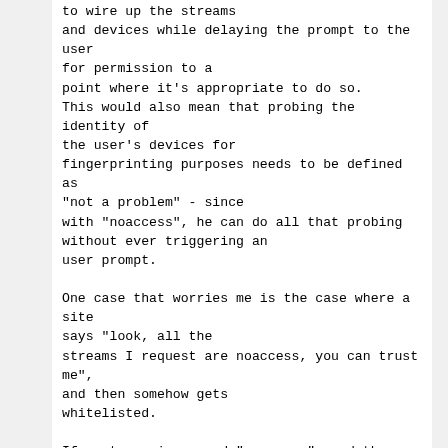to wire up the streams
and devices while delaying the prompt to the user
for permission to a
point where it's appropriate to do so.
This would also mean that probing the identity of
the user's devices for
fingerprinting purposes needs to be defined as
"not a problem" - since
with "noaccess", he can do all that probing
without ever triggering an
user prompt.

One case that worries me is the case where a site
says "look, all the
streams I request are noaccess, you can trust me",
and then somehow gets
whitelisted.

If a stream is opened "noaccess", and the site
changes it to "full", and
then immediately back to "noaccess", the site can
get a picture of the
user without the user noticing anything, even if
he watches the
indicator that says whether he's authorized
outgoing video or not.

I think I'll repeat what I asked earlier: Can you
write up a complete